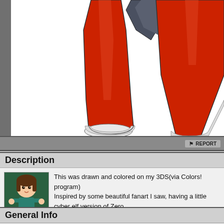[Figure (illustration): Close-up drawing of a character with long red legs/boots, white feet/shoes, and a dark weapon/axe partially visible at top. Drawn and colored on 3DS via Colors! program. Cyber elf version of Zero from Mega Man.]
Description
[Figure (photo): Small avatar image of an anime-style chibi girl with brown hair wearing a teal outfit]
This was drawn and colored on my 3DS(via Colors! program)
Inspired by some beautiful fanart I saw, having a little cyber elf version of Zero.
General Info
Ratings